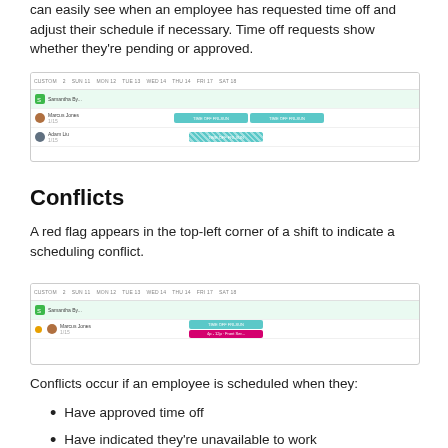can easily see when an employee has requested time off and adjust their schedule if necessary. Time off requests show whether they're pending or approved.
[Figure (screenshot): Screenshot of a scheduling calendar showing employees with time off requests displayed as colored bars across days of the week]
Conflicts
A red flag appears in the top-left corner of a shift to indicate a scheduling conflict.
[Figure (screenshot): Screenshot of a scheduling calendar showing a conflict indicator (orange dot) next to an employee with overlapping shift and time off bars]
Conflicts occur if an employee is scheduled when they:
Have approved time off
Have indicated they're unavailable to work